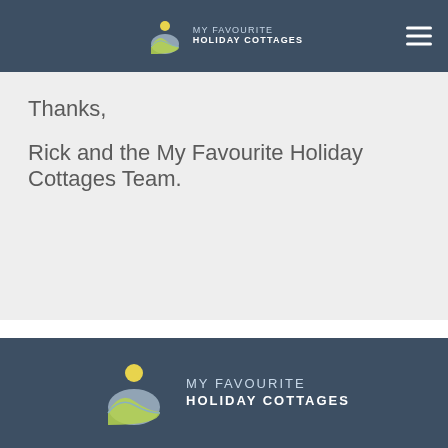MY FAVOURITE HOLIDAY COTTAGES
Thanks,
Rick and the My Favourite Holiday Cottages Team.
MY FAVOURITE HOLIDAY COTTAGES